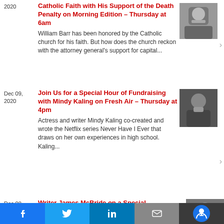2020 | Catholic Faith with His Support of the Death Penalty on Morning Edition – Thursday at 6am | William Barr has been honored by the Catholic church for his faith. But how does the church reckon with the attorney general's support for capital...
Dec 09, 2020 | Join Us for a Special Hour of Fundraising with Mindy Kaling on Fresh Air – Thursday at 4pm | Actress and writer Mindy Kaling co-created and wrote the Netflix series Never Have I Ever that draws on her own experiences in high school. Kaling...
Dec 08, 2020 | Writer James McBride on a Special Fundraising Fresh...